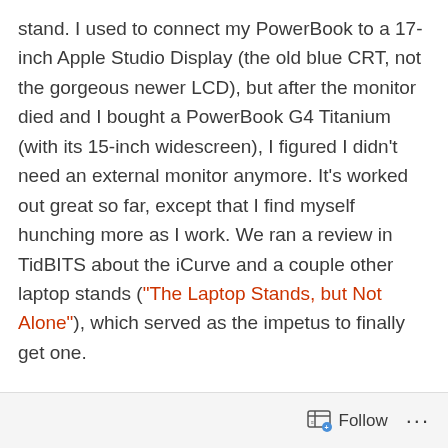stand. I used to connect my PowerBook to a 17-inch Apple Studio Display (the old blue CRT, not the gorgeous newer LCD), but after the monitor died and I bought a PowerBook G4 Titanium (with its 15-inch widescreen), I figured I didn't need an external monitor anymore. It's worked out great so far, except that I find myself hunching more as I work. We ran a review in TidBITS about the iCurve and a couple other laptop stands ("The Laptop Stands, but Not Alone"), which served as the impetus to finally get one.
I'll report on how I like it; for now, it feels really weird having my TiBook raised up high, but I'm sitting up straighter, which is the whole point.
(Also see two discussions in TidBITS Talk related to the
Follow ...